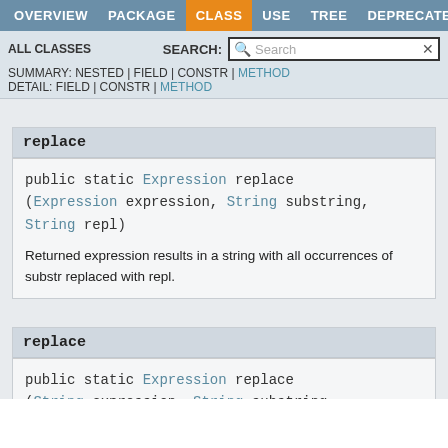OVERVIEW   PACKAGE   CLASS   USE   TREE   DEPRECATED
ALL CLASSES   SEARCH:
SUMMARY: NESTED | FIELD | CONSTR | METHOD
DETAIL: FIELD | CONSTR | METHOD
replace
public static Expression replace
(Expression expression, String substring,
String repl)
Returned expression results in a string with all occurrences of substr replaced with repl.
replace
public static Expression replace
(String expression, String substring